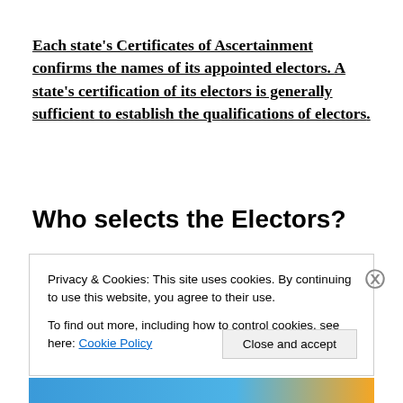Each state's Certificates of Ascertainment confirms the names of its appointed electors. A state's certification of its electors is generally sufficient to establish the qualifications of electors.
Who selects the Electors?
Privacy & Cookies: This site uses cookies. By continuing to use this website, you agree to their use. To find out more, including how to control cookies, see here: Cookie Policy
Close and accept